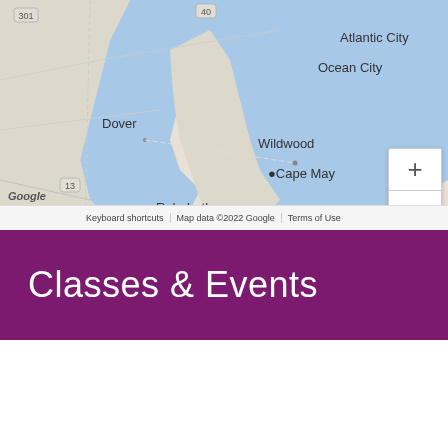[Figure (map): Google Maps showing coastal Mid-Atlantic region including Atlantic City, Ocean City, Wildwood, Cape May, Rehoboth Beach, Dover, with zoom controls. Map data ©2022 Google.]
Classes & Events
VIEW ALL EVENTS ❯
Free Breast Cancer Screening and Education Program - Community Medical Ce...